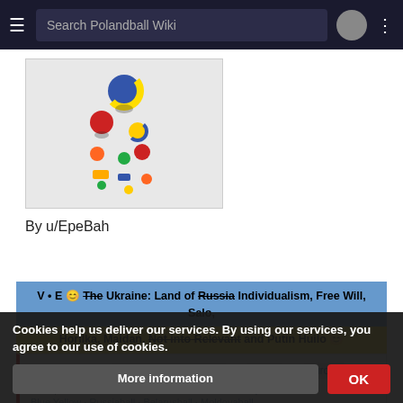Search Polandball Wiki
[Figure (illustration): Polandball comic strip illustration with colorful ball characters]
By u/EpeBah
V • E 😊 The Ukraine: Land of Russia Individualism, Free Will, Salo, Horilka, Maidan, Not into Relevant and Putin Huilo 😊
Categories: Historical Countryballs  Slavic  Europe
Blue Yellow  Russiaball  Belarusball  Moldovaball
Polandball  ... Short-Lived
Cookies help us deliver our services. By using our services, you agree to our use of cookies.